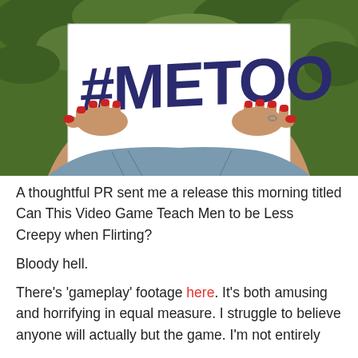[Figure (photo): A person holding up a white sign with '#METOO' written in large dark blue handwritten letters. The person has red painted fingernails. Green foliage is visible in the background.]
A thoughtful PR sent me a release this morning titled Can This Video Game Teach Men to be Less Creepy when Flirting?
Bloody hell.
There's 'gameplay' footage here. It's both amusing and horrifying in equal measure. I struggle to believe anyone will actually but the game. I'm not entirely